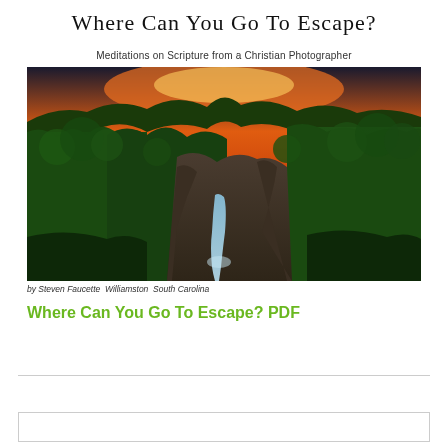Where Can You Go To Escape?
Meditations on Scripture from a Christian Photographer
[Figure (photo): Aerial view of a deep forest gorge with a waterfall and rocky cliffs at sunset, showing dense green trees surrounding rocky terrain with a blue-white waterfall in the lower center, and an orange sunset sky above the treeline.]
by Steven Faucette  Williamston  South Carolina
Where Can You Go To Escape? PDF